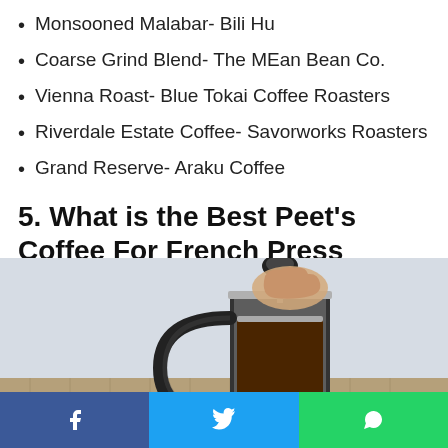Monsooned Malabar- Bili Hu
Coarse Grind Blend- The MEan Bean Co.
Vienna Roast- Blue Tokai Coffee Roasters
Riverdale Estate Coffee- Savorworks Roasters
Grand Reserve- Araku Coffee
5. What is the Best Peet’s Coffee For French Press
[Figure (photo): A hand pressing down the plunger of a chrome French press coffee maker on a burlap surface, with coffee liquid dripping out.]
Social share buttons: Facebook, Twitter, WhatsApp